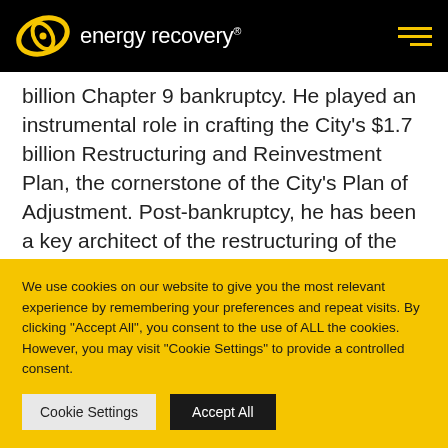energy recovery®
billion Chapter 9 bankruptcy. He played an instrumental role in crafting the City's $1.7 billion Restructuring and Reinvestment Plan, the cornerstone of the City's Plan of Adjustment. Post-bankruptcy, he has been a key architect of the restructuring of the City's finance operations.
We use cookies on our website to give you the most relevant experience by remembering your preferences and repeat visits. By clicking "Accept All", you consent to the use of ALL the cookies. However, you may visit "Cookie Settings" to provide a controlled consent.